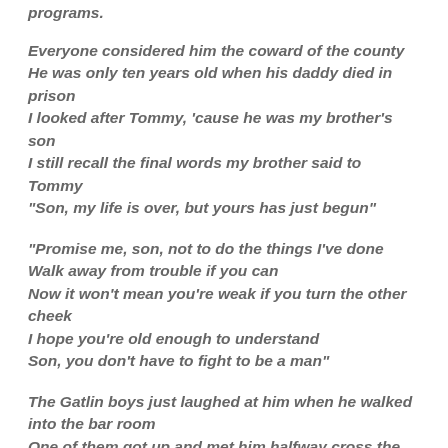programs.
Everyone considered him the coward of the county
He was only ten years old when his daddy died in prison
I looked after Tommy, 'cause he was my brother's son
I still recall the final words my brother said to Tommy
"Son, my life is over, but yours has just begun"
"Promise me, son, not to do the things I've done
Walk away from trouble if you can
Now it won't mean you're weak if you turn the other cheek
I hope you're old enough to understand
Son, you don't have to fight to be a man"
The Gatlin boys just laughed at him when he walked into the bar room
One of them got up and met him halfway cross the floor
When Tommy turned around they said, "Hey look! Old
When Tommy turned around they said, "Hey look! Old